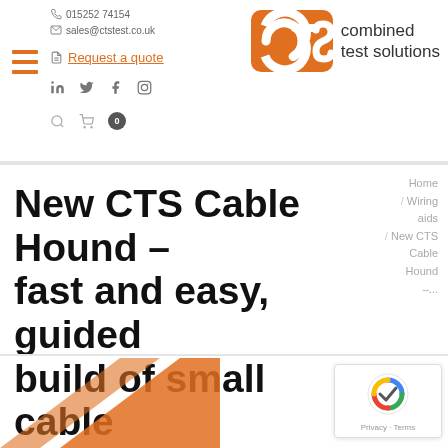015252 74154 | sales@ctstest.co.uk | Request a quote | combined test solutions
[Figure (logo): CTS Combined Test Solutions logo — orange rounded rectangle with white CTS letters, followed by 'combined test solutions' text]
New CTS Cable Hound – fast and easy, guided build of small cable assemblies
Home / Wiring aids / New CTS Cable Hound –...
[Figure (illustration): Bottom partial image showing orange product (Cable Hound device)]
[Figure (other): Google reCAPTCHA badge with Privacy and Terms links]